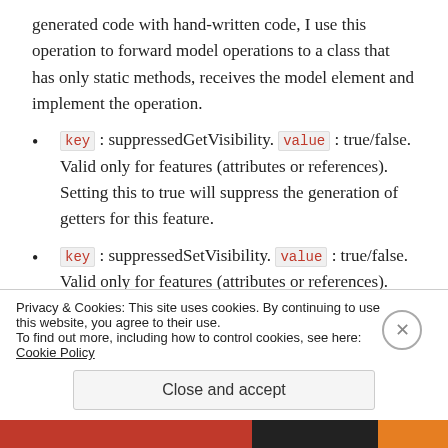generated code with hand-written code, I use this operation to forward model operations to a class that has only static methods, receives the model element and implement the operation.
key : suppressedGetVisibility. value : true/false. Valid only for features (attributes or references). Setting this to true will suppress the generation of getters for this feature.
key : suppressedSetVisibility. value : true/false. Valid only for features (attributes or references). Setting this to true will suppress the generation of setters for this feature.
Privacy & Cookies: This site uses cookies. By continuing to use this website, you agree to their use. To find out more, including how to control cookies, see here: Cookie Policy
Close and accept